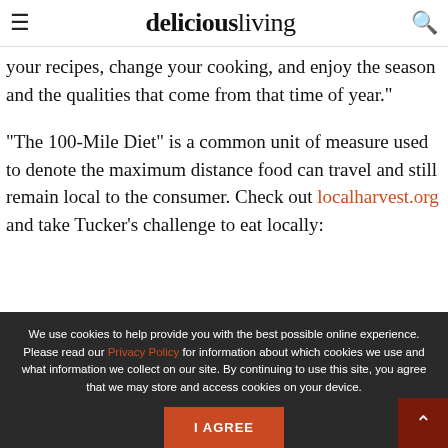deliciousliving
your recipes, change your cooking, and enjoy the season and the qualities that come from that time of year."
"The 100-Mile Diet" is a common unit of measure used to denote the maximum distance food can travel and still remain local to the consumer. Check out localharvest.org and take Tucker's challenge to eat locally:
We use cookies to help provide you with the best possible online experience. Please read our Privacy Policy for information about which cookies we use and what information we collect on our site. By continuing to use this site, you agree that we may store and access cookies on your device.